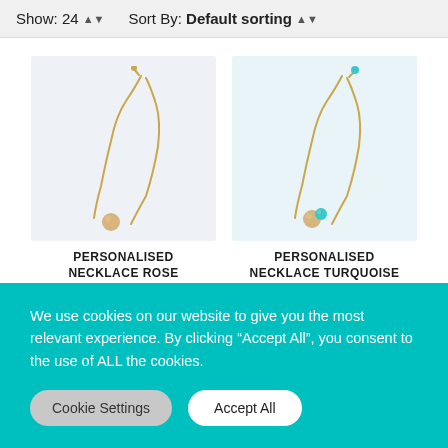Show: 24   Sort By: Default sorting
[Figure (photo): Personalised necklace with rose quartz pendant on gold chain, product photo on light blue-grey background]
PERSONALISED NECKLACE ROSE QUARTZ
[Figure (photo): Personalised necklace with turquoise bead pendant on gold chain, product photo on light blue background]
PERSONALISED NECKLACE TURQUOISE
We use cookies on our website to give you the most relevant experience. By clicking “Accept All”, you consent to the use of ALL the cookies.
Cookie Settings
Accept All